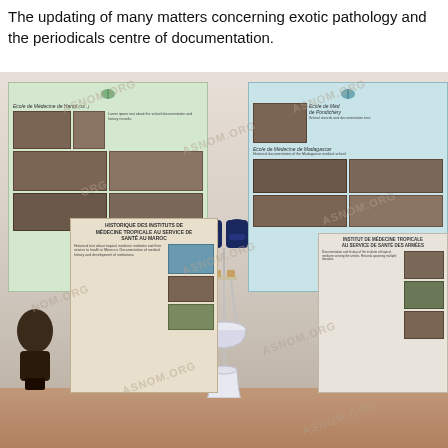The updating of many matters concerning exotic pathology and the periodicals centre of documentation.
[Figure (photo): Museum room display showing historical medical school exhibition panels. Top left: green panel labeled 'Ecole de Médecine de Hanoi' with historical photographs. Top right: blue panel showing 'Ecole de Médecine de Pondichéry' and 'Ecole de Médecine de Madagascar' with photographs. Center: antique washstand with two dark blue ceramic jars/vessels on a metal stand with a basin and bucket. Bottom left: framed text panel with photographs. Bottom right: framed text panel with photographs. Left foreground: dark wooden bust sculpture. Watermarks reading 'ASNOM.ORG' overlaid throughout the image.]